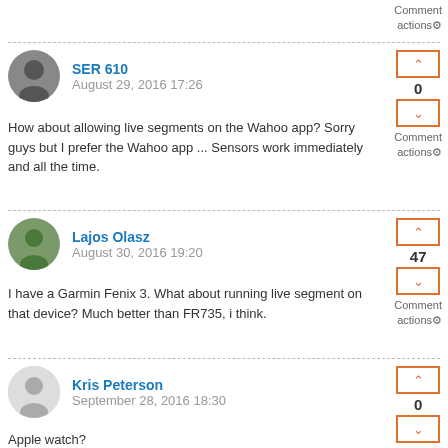Comment actions⚙
SER 610
August 29, 2016 17:26
0
How about allowing live segments on the Wahoo app? Sorry guys but I prefer the Wahoo app ... Sensors work immediately and all the time.
Comment actions⚙
Lajos Olasz
August 30, 2016 19:20
47
I have a Garmin Fenix 3. What about running live segment on that device? Much better than FR735, i think.
Comment actions⚙
Kris Peterson
September 28, 2016 18:30
0
Apple watch?
Comment